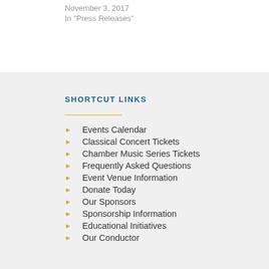November 3, 2017
In "Press Releases"
SHORTCUT LINKS
Events Calendar
Classical Concert Tickets
Chamber Music Series Tickets
Frequently Asked Questions
Event Venue Information
Donate Today
Our Sponsors
Sponsorship Information
Educational Initiatives
Our Conductor